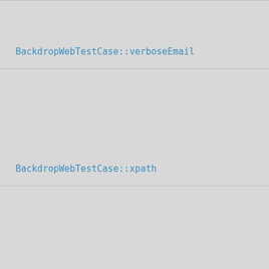BackdropWebTestCase::verboseEmail
BackdropWebTestCase::xpath
BackdropWebTestCase::__construct